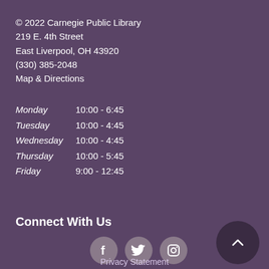© 2022 Carnegie Public Library
219 E. 4th Street
East Liverpool, OH 43920
(330) 385-2048
Map & Directions
Monday      10:00 - 6:45
Tuesday     10:00 - 4:45
Wednesday  10:00 - 4:45
Thursday    10:00 - 5:45
Friday      9:00 - 12:45
Connect With Us
[Figure (infographic): Three social media icon circles: Facebook, Twitter, Instagram]
Privacy Statement